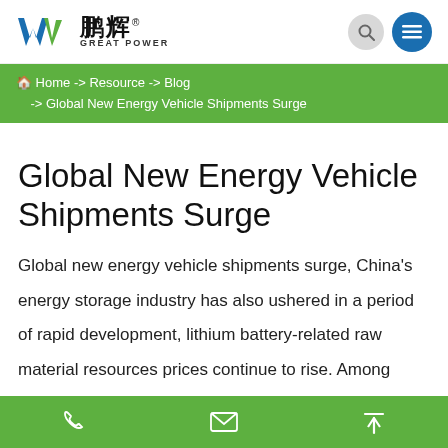鹏辉 GREAT POWER — logo and navigation icons
Home -> Resource -> Blog -> Global New Energy Vehicle Shipments Surge
Global New Energy Vehicle Shipments Surge
Global new energy vehicle shipments surge, China's energy storage industry has also ushered in a period of rapid development, lithium battery-related raw material resources prices continue to rise. Among them, the proportion of lithium iron phosphate battery is rising, and the supply and demand is even tighter.
Phone | Email | Top icons